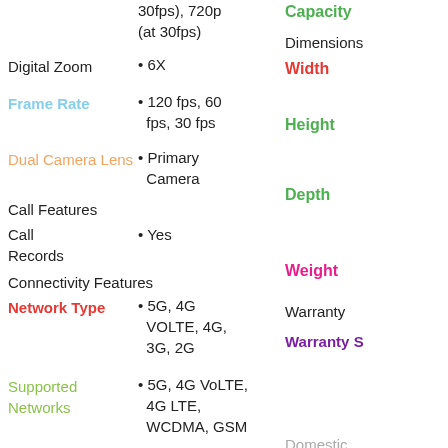30fps), 720p (at 30fps)
Capacity
Dimensions
Width
Digital Zoom: 6X
Frame Rate
120 fps, 60 fps, 30 fps
Height
Dual Camera Lens
Primary Camera
Depth
Call Features
Call Records
Yes
Weight
Connectivity Features
Warranty
Network Type
Warranty S
5G, 4G VOLTE, 4G, 3G, 2G
Supported Networks
5G, 4G VoLTE, 4G LTE, WCDMA, GSM
Domestic